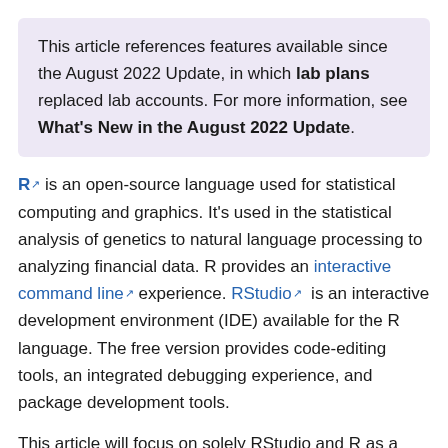This article references features available since the August 2022 Update, in which lab plans replaced lab accounts. For more information, see What's New in the August 2022 Update.
R is an open-source language used for statistical computing and graphics. It's used in the statistical analysis of genetics to natural language processing to analyzing financial data. R provides an interactive command line experience. RStudio is an interactive development environment (IDE) available for the R language. The free version provides code-editing tools, an integrated debugging experience, and package development tools.
This article will focus on solely RStudio and R as a building block for a class that requires the use of statistical computing. The deep learning and Python and Jupyter